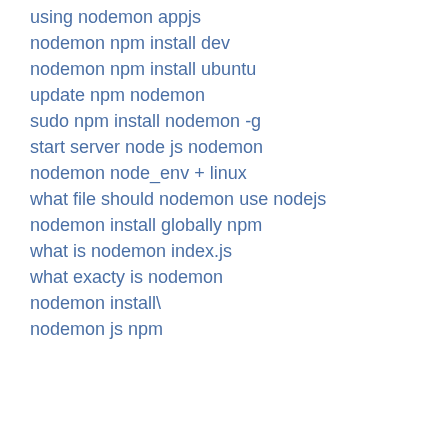using nodemon appjs
nodemon npm install dev
nodemon npm install ubuntu
update npm nodemon
sudo npm install nodemon -g
start server node js nodemon
nodemon node_env + linux
what file should nodemon use nodejs
nodemon install globally npm
what is nodemon index.js
what exacty is nodemon
nodemon install\
nodemon js npm